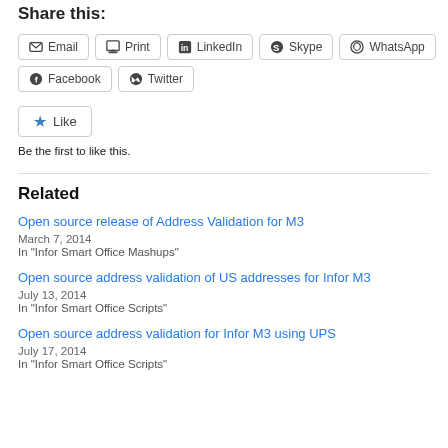Share this:
[Figure (other): Share buttons: Email, Print, LinkedIn, Skype, WhatsApp, Facebook, Twitter]
[Figure (other): Like button]
Be the first to like this.
Related
Open source release of Address Validation for M3
March 7, 2014
In "Infor Smart Office Mashups"
Open source address validation of US addresses for Infor M3
July 13, 2014
In "Infor Smart Office Scripts"
Open source address validation for Infor M3 using UPS
July 17, 2014
In "Infor Smart Office Scripts"